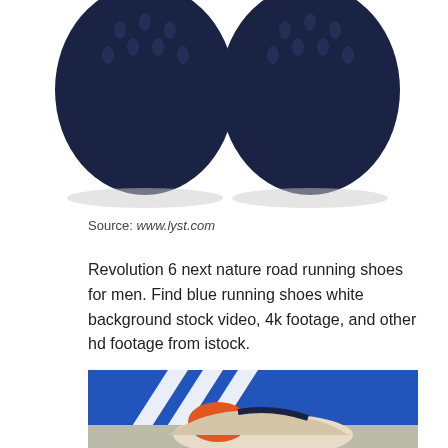[Figure (photo): Top-down view of two navy blue running shoes on white background, showing mesh fabric and ventilation holes.]
Source: www.lyst.com
Revolution 6 next nature road running shoes for men. Find blue running shoes white background stock video, 4k footage, and other hd footage from istock.
[Figure (photo): Close-up photo of an Adidas sneaker with orange and beige colorway, placed in front of a blue Adidas banner with white three stripes logo.]